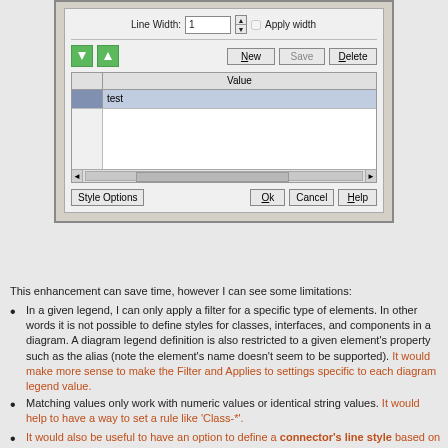[Figure (screenshot): A dialog box showing Line Width field set to 1 with Apply width checkbox, up/down arrow buttons, New/Save/Delete buttons, a table with 'Value' column header and 'test' entry selected, a horizontal scrollbar, and bottom buttons: Style Options, Ok, Cancel, Help.]
This enhancement can save time, however I can see some limitations:
In a given legend, I can only apply a filter for a specific type of elements. In other words it is not possible to define styles for classes, interfaces, and components in a diagram. A diagram legend definition is also restricted to a given element's property such as the alias (note the element's name doesn't seem to be supported). It would make more sense to make the Filter and Applies to settings specific to each diagram legend value.
Matching values only work with numeric values or identical string values. It would help to have a way to set a rule like 'Class-*'.
It would also be useful to have an option to define a connector's line style based on the legend (e.g. Orthogonal, Tree Style…).